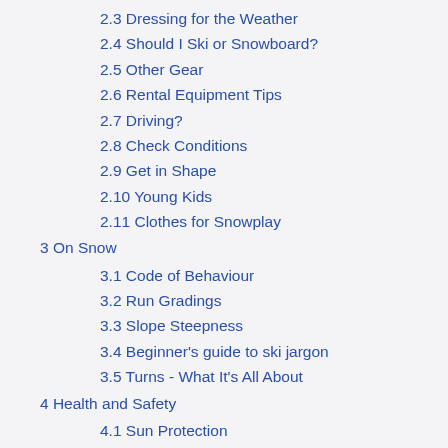2.3 Dressing for the Weather
2.4 Should I Ski or Snowboard?
2.5 Other Gear
2.6 Rental Equipment Tips
2.7 Driving?
2.8 Check Conditions
2.9 Get in Shape
2.10 Young Kids
2.11 Clothes for Snowplay
3 On Snow
3.1 Code of Behaviour
3.2 Run Gradings
3.3 Slope Steepness
3.4 Beginner's guide to ski jargon
3.5 Turns - What It's All About
4 Health and Safety
4.1 Sun Protection
4.2 Dehydration
4.3 Hypothermia
4.4 Frostbite
4.5 Other Safety & Courtesy Tips
5 Other Winter Sport Activities
6 Books and Instructional Resources